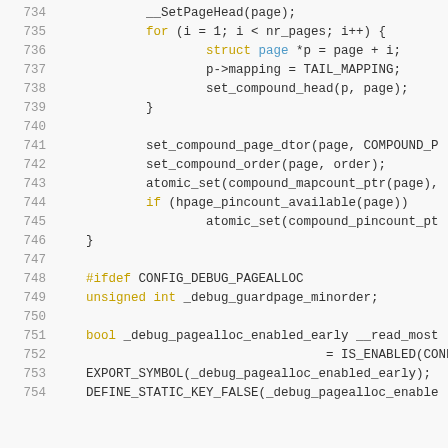Source code listing, lines 734–754, showing C kernel code for compound page setup and debug page allocation.